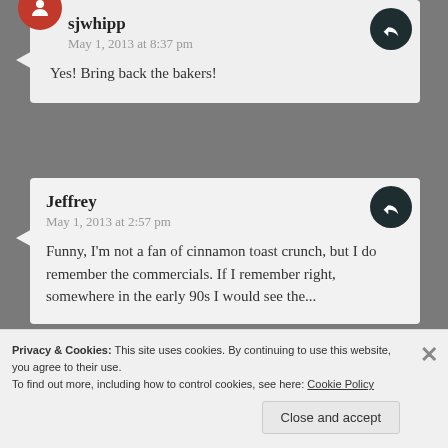sjwhipp
May 1, 2013 at 8:37 pm
Yes! Bring back the bakers!
Jeffrey
May 1, 2013 at 2:57 pm
Funny, I'm not a fan of cinnamon toast crunch, but I do remember the commercials. If I remember right, somewhere in the early 90s I would see the...
Privacy & Cookies: This site uses cookies. By continuing to use this website, you agree to their use. To find out more, including how to control cookies, see here: Cookie Policy
Close and accept